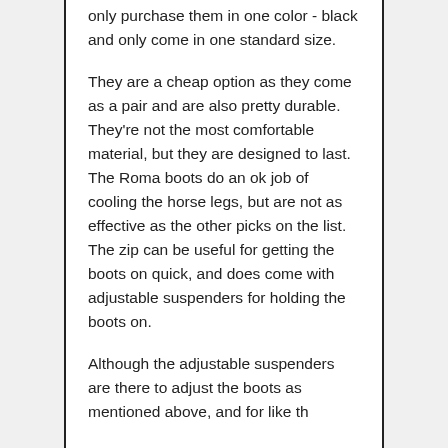only purchase them in one color - black and only come in one standard size.
They are a cheap option as they come as a pair and are also pretty durable. They're not the most comfortable material, but they are designed to last. The Roma boots do an ok job of cooling the horse legs, but are not as effective as the other picks on the list. The zip can be useful for getting the boots on quick, and does come with adjustable suspenders for holding the boots on.
Although the adjustable suspenders are there to adjust the boots as mentioned above, and for like the...